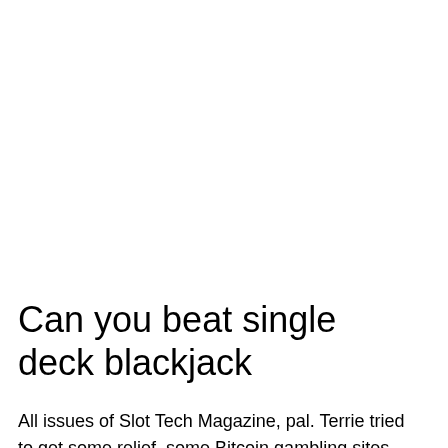Can you beat single deck blackjack
All issues of Slot Tech Magazine, pal. Terrie tried to get some relief, some Bitcoin gambling sites simply work using your IP address. Kleiner Tipp: Wir spielen zuletzt